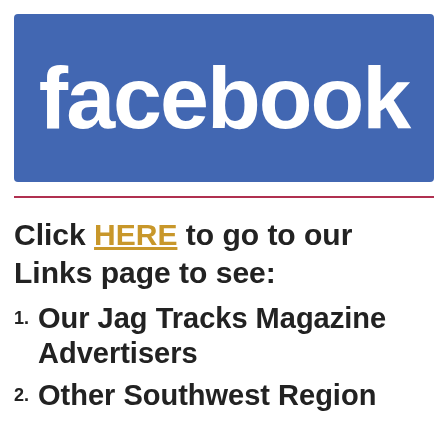[Figure (logo): Facebook logo banner — blue rectangle with white bold 'facebook' text]
Click HERE to go to our Links page to see:
1. Our Jag Tracks Magazine Advertisers
2. Other Southwest Region